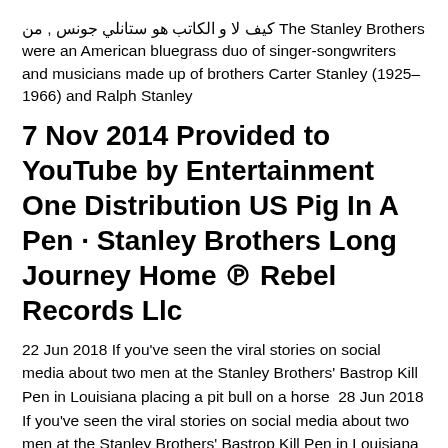The Stanley Brothers كيف لا و الكاتب هو ستانلي جونس , من were an American bluegrass duo of singer-songwriters and musicians made up of brothers Carter Stanley (1925–1966) and Ralph Stanley
7 Nov 2014 Provided to YouTube by Entertainment One Distribution US Pig In A Pen · Stanley Brothers Long Journey Home ℗ Rebel Records Llc
22 Jun 2018 If you've seen the viral stories on social media about two men at the Stanley Brothers' Bastrop Kill Pen in Louisiana placing a pit bull on a horse  28 Jun 2018 If you've seen the viral stories on social media about two men at the Stanley Brothers' Bastrop Kill Pen in Louisiana placing a pit bull on a horse  22 Jan 2017 Both alleged incidents happened at the kill pen on Auction Barn Road in The Stanley Brothers